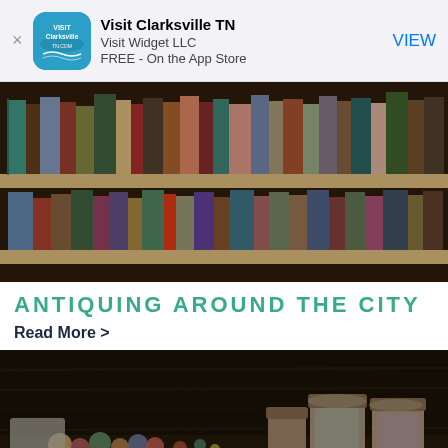[Figure (screenshot): App store banner for Visit Clarksville TN app by Visit Widget LLC, FREE on the App Store, with a VIEW button]
[Figure (photo): Shelves of old colorful books in an antique store]
ANTIQUING AROUND THE CITY
Read More >
[Figure (photo): Dark wooden shelf with glass jars and colorful items, antique store setting]